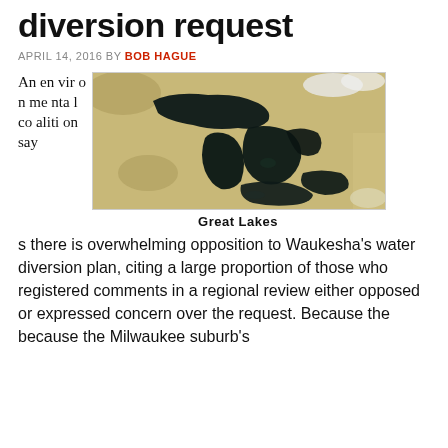diversion request
APRIL 14, 2016 BY BOB HAGUE
[Figure (photo): Satellite aerial photograph of the Great Lakes region showing the five Great Lakes from above, with surrounding land in brown/green tones and the lakes appearing as dark blue-black bodies of water.]
Great Lakes
An environmental coalition says there is overwhelming opposition to Waukesha's water diversion plan, citing a large proportion of those who registered comments in a regional review either opposed or expressed concern over the request. Because the because the Milwaukee suburb's